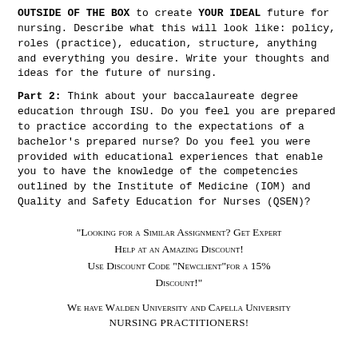OUTSIDE OF THE BOX to create YOUR IDEAL future for nursing. Describe what this will look like: policy, roles (practice), education, structure, anything and everything you desire. Write your thoughts and ideas for the future of nursing.
Part 2: Think about your baccalaureate degree education through ISU. Do you feel you are prepared to practice according to the expectations of a bachelor's prepared nurse? Do you feel you were provided with educational experiences that enable you to have the knowledge of the competencies outlined by the Institute of Medicine (IOM) and Quality and Safety Education for Nurses (QSEN)?
"Looking for a Similar Assignment? Get Expert Help at an Amazing Discount! Use Discount Code "Newclient"for a 15% Discount!"
We have Walden University and Capella University nursing practitioners!